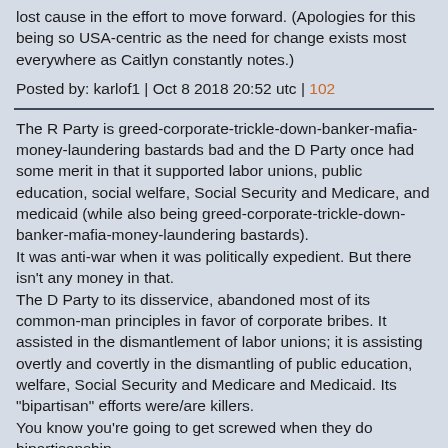lost cause in the effort to move forward. (Apologies for this being so USA-centric as the need for change exists most everywhere as Caitlyn constantly notes.)
Posted by: karlof1 | Oct 8 2018 20:52 utc | 102
The R Party is greed-corporate-trickle-down-banker-mafia-money-laundering bastards bad and the D Party once had some merit in that it supported labor unions, public education, social welfare, Social Security and Medicare, and medicaid (while also being greed-corporate-trickle-down-banker-mafia-money-laundering bastards).
It was anti-war when it was politically expedient. But there isn't any money in that.
The D Party to its disservice, abandoned most of its common-man principles in favor of corporate bribes. It assisted in the dismantlement of labor unions; it is assisting overtly and covertly in the dismantling of public education, welfare, Social Security and Medicare and Medicaid. Its "bipartisan" efforts were/are killers.
You know you're going to get screwed when they do bipartisanship.
Foreign policy, of course, is as bad as the Republicans.
There is something else going on that …